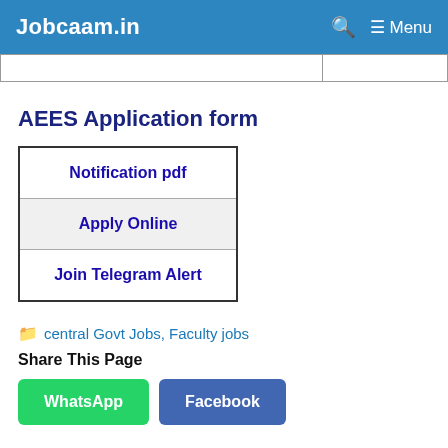Jobcaam.in — Menu
|  |  |
AEES Application form
| Notification pdf |
| Apply Online |
| Join Telegram Alert |
central Govt Jobs, Faculty jobs
Share This Page
WhatsApp   Facebook